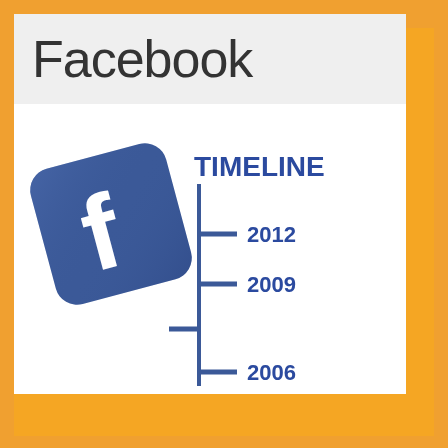Facebook
[Figure (infographic): Facebook logo (blue rounded square with white 'f') tilted slightly, alongside a vertical timeline graphic labeled 'TIMELINE' with tick marks for years 2012, 2009, 2008, 2006]